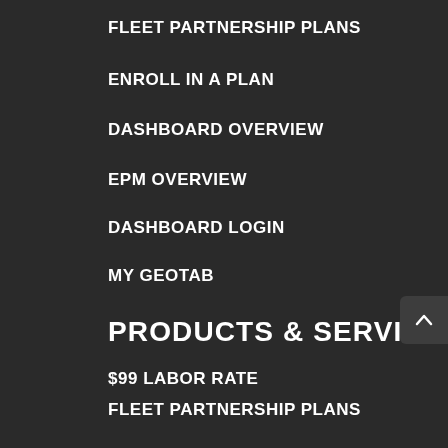FLEET PARTNERSHIP PLANS
ENROLL IN A PLAN
DASHBOARD OVERVIEW
EPM OVERVIEW
DASHBOARD LOGIN
MY GEOTAB
PRODUCTS & SERVICES
$99 LABOR RATE
FLEET PARTNERSHIP PLANS
ONLINE FLEET EVALUATION
TELEMATICS